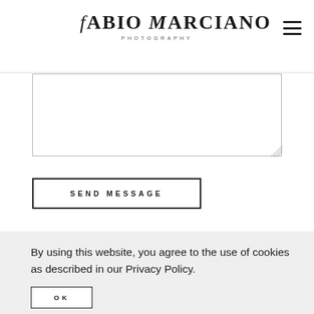FABIO MARCIANO PHOTOGRAPHY
[Figure (other): Text area / message input box with resize handle]
SEND MESSAGE
By using this website, you agree to the use of cookies as described in our Privacy Policy.
OK